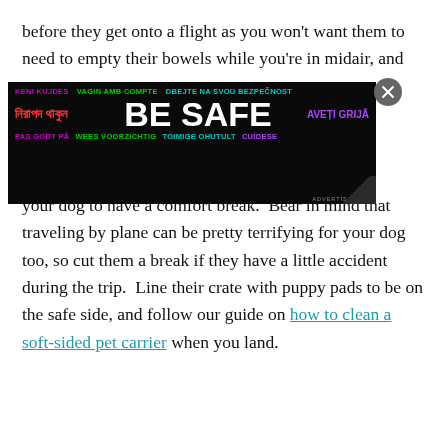before they get onto a flight as you won't want them to need to empty their bowels while you're in midair, and [AD BANNER] your dog to have a comfort break. Bear in mind that traveling by plane can be pretty terrifying for your dog too, so cut them a break if they have a little accident during the trip. Line their crate with puppy pads to be on the safe side, and follow our guide on how to clean a soft-sided pet carrier when you land.
[Figure (infographic): A 'BE SAFE' advertisement banner in multiple languages on a dark background. Includes: KENI KUJDES (purple), VAGIN AMB COMPTE (green), DBEJTE NA SVOU BEZPEČNOST (cyan), নিরাপদ থাকুন (red, Bengali), BE SAFE (large white bold text), AVEȚI GRIJĂ (purple), PAS GODT PÅ (purple), WEES VOORZICHTIG (green), TOIMIGE OHUTULT (cyan), CUÍDESE (purple). A close button (X) appears in the top right corner. An ADVERTISEMENT label appears in the bottom right.]